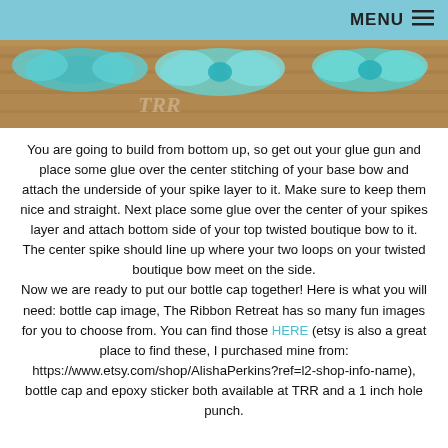MENU ☰
[Figure (photo): Photo of teal/turquoise decorative bows arranged on a wooden surface, viewed from above. A watermark 'TRR' is visible.]
You are going to build from bottom up, so get out your glue gun and place some glue over the center stitching of your base bow and attach the underside of your spike layer to it. Make sure to keep them nice and straight. Next place some glue over the center of your spikes layer and attach bottom side of your top twisted boutique bow to it. The center spike should line up where your two loops on your twisted boutique bow meet on the side. Now we are ready to put our bottle cap together! Here is what you will need: bottle cap image, The Ribbon Retreat has so many fun images for you to choose from. You can find those HERE (etsy is also a great place to find these, I purchased mine from: https://www.etsy.com/shop/AlishaPerkins?ref=l2-shop-info-name), bottle cap and epoxy sticker both available at TRR and a 1 inch hole punch.